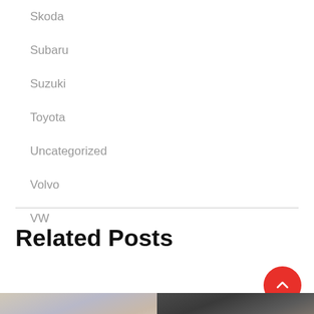Skoda
Subaru
Suzuki
Toyota
Uncategorized
Volvo
VW
Related Posts
[Figure (photo): Two photo thumbnails: left shows a landscape with sky at dusk, right shows a dark SUV parked near rocky terrain]